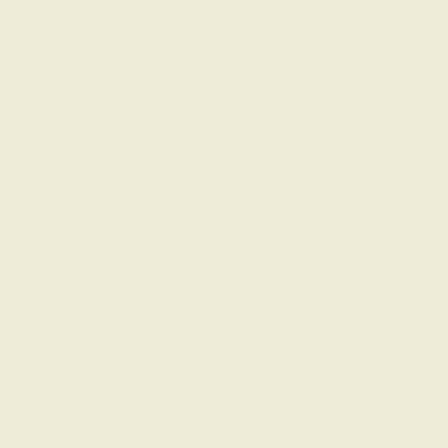I know that Democrats really wa... like a gangsta wannabee and qua...

It's likely a gangsta wannabee....

Despite the shellacking Dems ju... equals 3....

Michale.....

[ Per...
[75] akadjian wrote:

my analysis and conclusion was...

So if you agree with Obama why...

Oh yeah because they should hav... there was a terror attack.

And ... if this had been the case y... important details to the enemy. O...

*sigh*

It shows that there was absolutel... that race was ANY part of the in...

I'd agree with this, but it also wa...